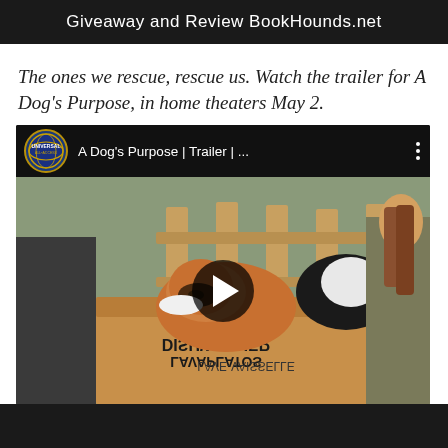Giveaway and Review BookHounds.net
The ones we rescue, rescue us. Watch the trailer for A Dog’s Purpose, in home theaters May 2.
[Figure (screenshot): YouTube video embed showing 'A Dog’s Purpose | Trailer | ...' with Universal All Access logo, a thumbnail of puppies in a cardboard box labeled DISHWASHER/LAVAPLATOS/LAVE-VAISSELLE, with a play button overlay.]